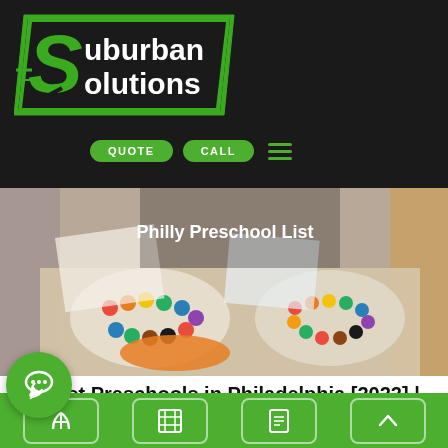[Figure (logo): Suburban Solutions logo with green S arrow and white text on black background]
QUOTE   CALL   ≡
[Figure (photo): Children's watercolor paint sets and art supplies on a table, hero image for Philly Preschool List article]
Philly Preschool List
10 Best Preschools in Philadelphia [2022] | 👨‍👩‍👧 Philly Preschool List With Information for Parents
05/2022   ≡ City Guides